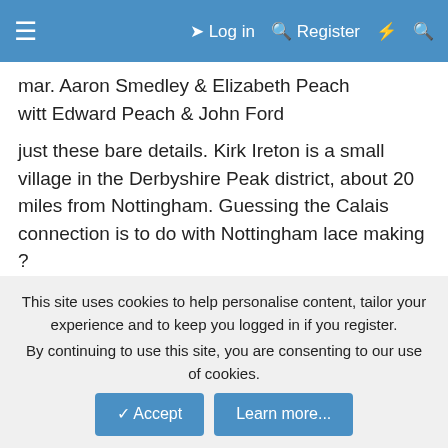Log in  Register
mar. Aaron Smedley & Elizabeth Peach
witt Edward Peach & John Ford

just these bare details. Kirk Ireton is a small village in the Derbyshire Peak district, about 20 miles from Nottingham. Guessing the Calais connection is to do with Nottingham lace making ?

Elaine
Last edited: 3 February 2016
DaveHam9
Loyal Member  Staff member  Moderator
This site uses cookies to help personalise content, tailor your experience and to keep you logged in if you register.
By continuing to use this site, you are consenting to our use of cookies.
Accept  Learn more...